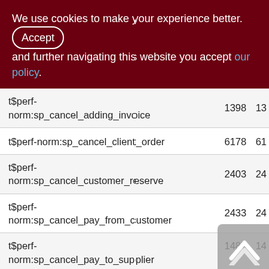We use cookies to make your experience better. By accepting and further navigating this website you accept our policy.
| Name | Col1 | Col2 |
| --- | --- | --- |
| t$perf-norm:sp_cancel_adding_invoice | 1398 | 13 |
| t$perf-norm:sp_cancel_client_order | 6178 | 61 |
| t$perf-norm:sp_cancel_customer_reserve | 2403 | 24 |
| t$perf-norm:sp_cancel_pay_from_customer | 2433 | 24 |
| t$perf-norm:sp_cancel_pay_to_supplier | 1487 | 14 |
| t$perf- | 899 | 8 |